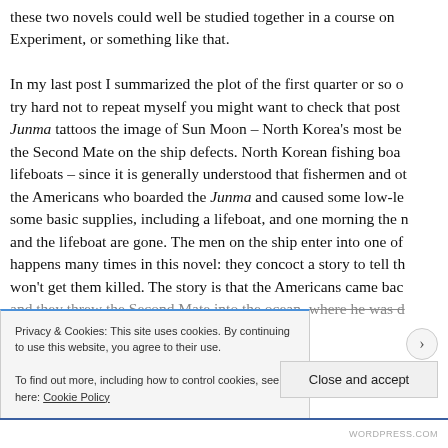these two novels could well be studied together in a course on Experiment, or something like that.

In my last post I summarized the plot of the first quarter or so o... try hard not to repeat myself you might want to check that post o... Junma tattoos the image of Sun Moon – North Korea's most bel... the Second Mate on the ship defects. North Korean fishing boa... lifeboats – since it is generally understood that fishermen and ot... the Americans who boarded the Junma and caused some low-le... some basic supplies, including a lifeboat, and one morning the n... and the lifeboat are gone. The men on the ship enter into one of... happens many times in this novel: they concoct a story to tell th... won't get them killed. The story is that the Americans came bac... and they throw the Second Mate into the ocean, where he was d...
Privacy & Cookies: This site uses cookies. By continuing to use this website, you agree to their use.
To find out more, including how to control cookies, see here: Cookie Policy
Close and accept